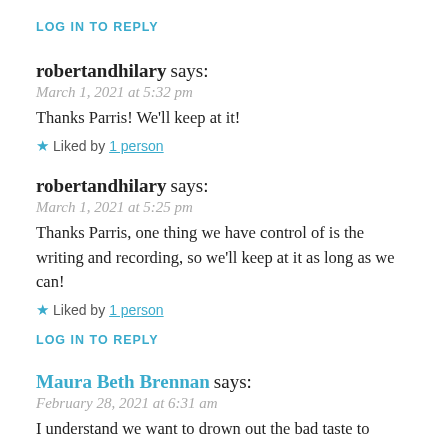LOG IN TO REPLY
robertandhilary says:
March 1, 2021 at 5:32 pm
Thanks Parris! We'll keep at it!
★ Liked by 1 person
robertandhilary says:
March 1, 2021 at 5:25 pm
Thanks Parris, one thing we have control of is the writing and recording, so we'll keep at it as long as we can!
★ Liked by 1 person
LOG IN TO REPLY
Maura Beth Brennan says:
February 28, 2021 at 6:31 am
I understand we want to drown out the bad taste to Robert, thro...